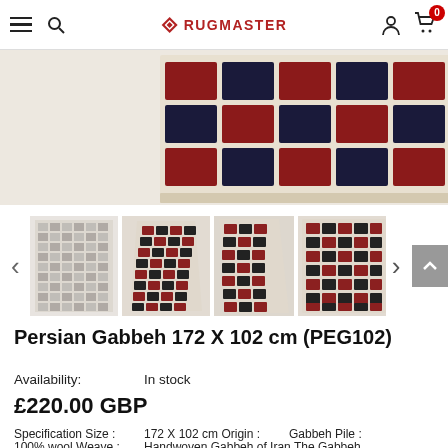RUGMASTER - Navigation header with hamburger menu, search, logo, account and cart icons
[Figure (photo): Close-up of a Persian Gabbeh rug showing a checkered pattern of red and dark navy/black squares on a cream/beige background]
[Figure (photo): Four thumbnail images of the Persian Gabbeh rug (PEG102) showing full rug views with red and black checkered pattern on cream background, with left and right navigation arrows and a back-to-top button]
Persian Gabbeh 172 X 102 cm (PEG102)
Availability:    In stock
£220.00 GBP
Specification Size :    172 X 102 cm Origin :    Gabbeh Pile :
100% wool Weave :    Handwoven Gabbeh of Iran The Gabbeh